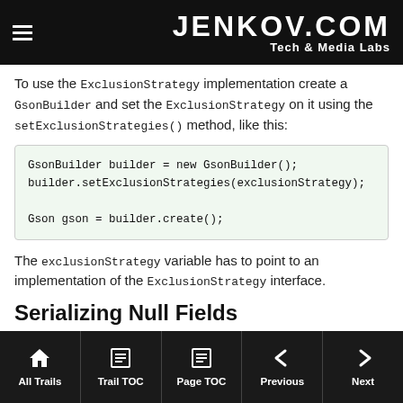JENKOV.COM Tech & Media Labs
To use the ExclusionStrategy implementation create a GsonBuilder and set the ExclusionStrategy on it using the setExclusionStrategies() method, like this:
GsonBuilder builder = new GsonBuilder();
builder.setExclusionStrategies(exclusionStrategy);

Gson gson = builder.create();
The exclusionStrategy variable has to point to an implementation of the ExclusionStrategy interface.
Serializing Null Fields
By default the Gson object does not serialize fields with null values to JSON. If a field in a Java object is null, Gson excludes it.
All Trails | Trail TOC | Page TOC | Previous | Next